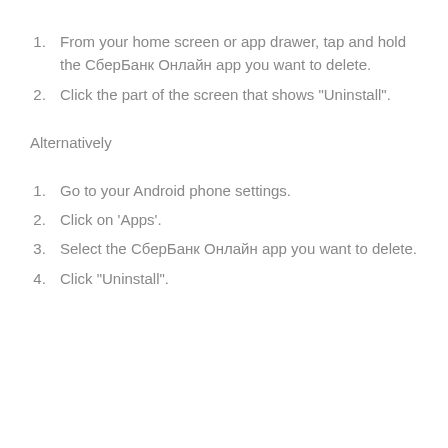From your home screen or app drawer, tap and hold the СберБанк Онлайн app you want to delete.
Click the part of the screen that shows "Uninstall".
Alternatively
Go to your Android phone settings.
Click on 'Apps'.
Select the СберБанк Онлайн app you want to delete.
Click "Uninstall".